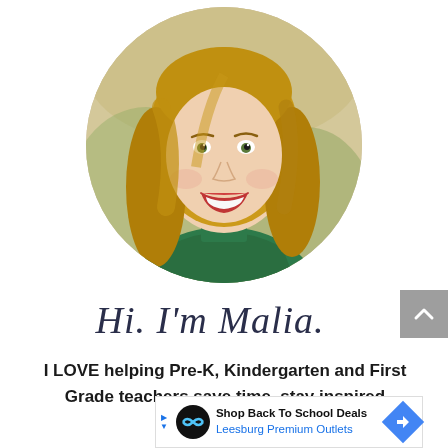[Figure (photo): Circular cropped headshot of a smiling young woman with long blonde hair wearing a green floral top, photographed outdoors with blurred background]
Hi. I'm Malia.
I LOVE helping Pre-K, Kindergarten and First Grade teachers save time, stay inspired
[Figure (other): Advertisement banner: Shop Back To School Deals - Leesburg Premium Outlets]